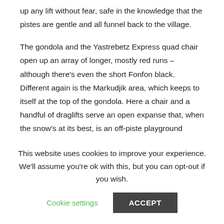up any lift without fear, safe in the knowledge that the pistes are gentle and all funnel back to the village.
The gondola and the Yastrebetz Express quad chair open up an array of longer, mostly red runs – although there's even the short Fonfon black. Different again is the Markudjik area, which keeps to itself at the top of the gondola. Here a chair and a handful of draglifts serve an open expanse that, when the snow's at its best, is an off-piste playground between the runs, and at other times offers tree skiing through the blanket of thigh-high pines. There are two snow parks for boarders and adventurous skiers, one of them right by the Rila, where there is also a
This website uses cookies to improve your experience. We'll assume you're ok with this, but you can opt-out if you wish.
Cookie settings
ACCEPT